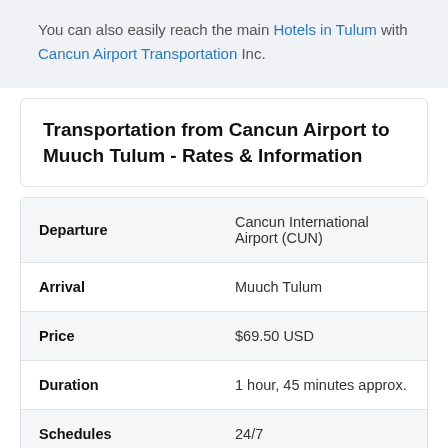You can also easily reach the main Hotels in Tulum with Cancun Airport Transportation Inc.
Transportation from Cancun Airport to Muuch Tulum - Rates & Information
| Departure | Cancun International Airport (CUN) |
| Arrival | Muuch Tulum |
| Price | $69.50 USD |
| Duration | 1 hour, 45 minutes approx. |
| Schedules | 24/7 |